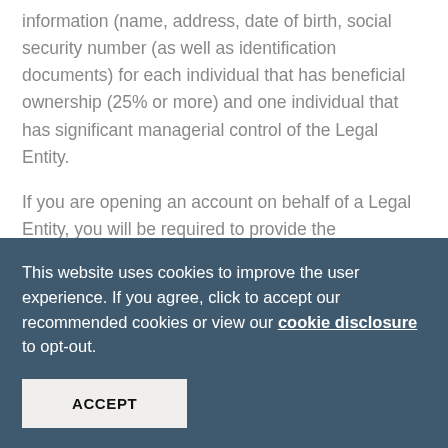information (name, address, date of birth, social security number (as well as identification documents) for each individual that has beneficial ownership (25% or more) and one individual that has significant managerial control of the Legal Entity.
If you are opening an account on behalf of a Legal Entity, you will be required to provide the appropriate documentation and to certify that this information is true and accurate to the best of your knowledge.
We support all efforts to protect and maintain the
This website uses cookies to improve the user experience. If you agree, click to accept our recommended cookies or view our cookie disclosure to opt-out.
ACCEPT